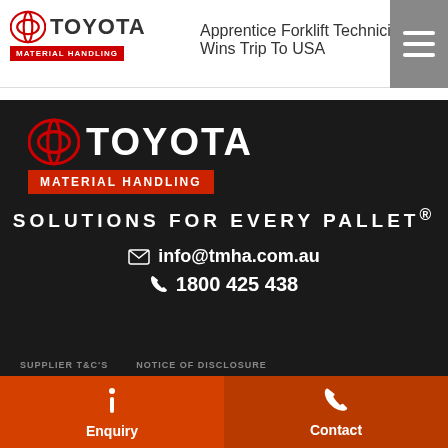Apprentice Forklift Technician Wins Trip To USA
[Figure (logo): Toyota Material Handling logo with red badge in dark footer section]
SOLUTIONS FOR EVERY PALLET®
info@tmha.com.au
1800 425 438
SUPPLIER T&C'S   NOTICE OF DISCLOSURE
Enquiry
Contact